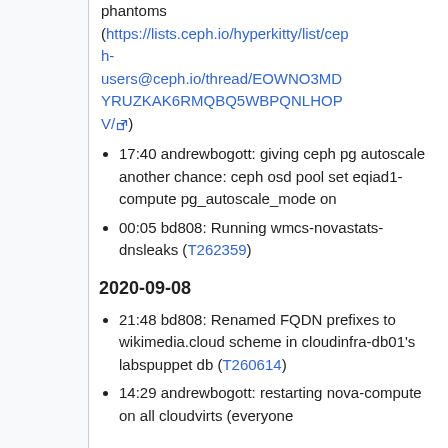phantoms (https://lists.ceph.io/hyperkitty/list/ceph-users@ceph.io/thread/EOWNO3MDYRUZKAK6RMQBQ5WBPQNLHOPV/)
17:40 andrewbogott: giving ceph pg autoscale another chance: ceph osd pool set eqiad1-compute pg_autoscale_mode on
00:05 bd808: Running wmcs-novastats-dnsleaks (T262359)
2020-09-08
21:48 bd808: Renamed FQDN prefixes to wikimedia.cloud scheme in cloudinfra-db01's labspuppet db (T260614)
14:29 andrewbogott: restarting nova-compute on all cloudvirts (everyone